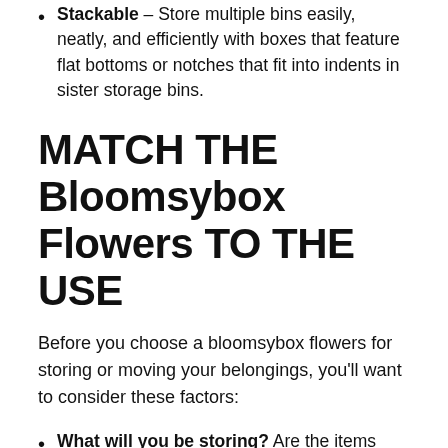Stackable — Store multiple bins easily, neatly, and efficiently with boxes that feature flat bottoms or notches that fit into indents in sister storage bins.
MATCH THE Bloomsybox Flowers TO THE USE
Before you choose a bloomsybox flowers for storing or moving your belongings, you'll want to consider these factors:
What will you be storing? Are the items fragile or easily broken? Will the contents easily absorb odors? How valuable are these items?